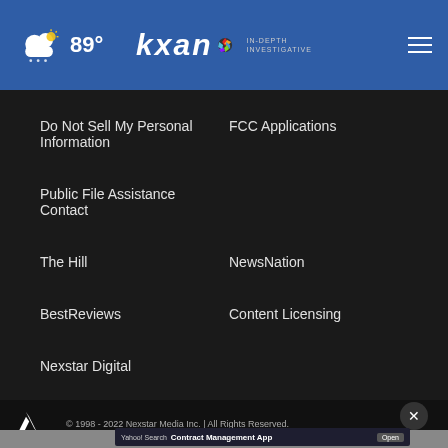89° kxan IN-DEPTH INVESTIGATIVE
Do Not Sell My Personal Information
FCC Applications
Public File Assistance Contact
The Hill
NewsNation
BestReviews
Content Licensing
Nexstar Digital
© 1998 - 2022 Nexstar Media Inc. | All Rights Reserved.